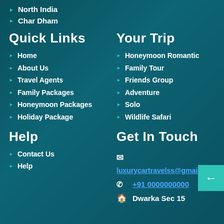North India
Char Dham
Quick Links
Your Trip
Home
Honeymoon Romantic
About Us
Family Tour
Travel Agents
Friends Group
Family Packages
Adventure
Honeymoon Packages
Solo
Holiday Package
Wildlife Safari
Help
Get In Touch
Contact Us
Help
luxurycartravelss@gmail.com
+91 0000000000
Dwarka Sec 15